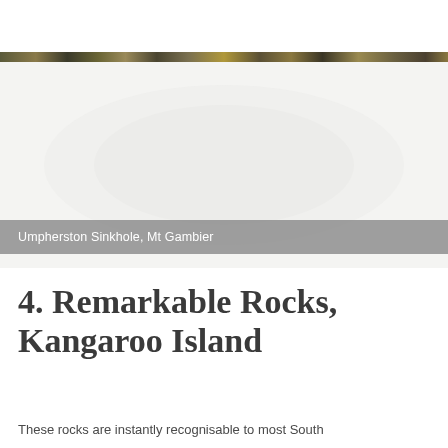[Figure (photo): Full-width photograph of Umpherston Sinkhole, Mt Gambier — a lush sunken garden with vegetation visible through a narrow strip at the top of the page, with a grey caption bar overlay reading 'Umpherston Sinkhole, Mt Gambier']
Umpherston Sinkhole, Mt Gambier
4. Remarkable Rocks, Kangaroo Island
These rocks are instantly recognisable to most South